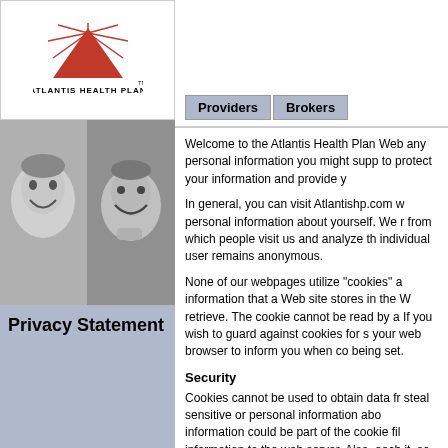[Figure (logo): Atlantis Health Plan logo with red triangle/sunburst and text 'ATLANTIS HEALTH PLAN TM']
Providers   Brokers
[Figure (photo): Two black-and-white photos side by side: a child smiling (left) and an older man smiling (right)]
Privacy Statement
Welcome to the Atlantis Health Plan Web any personal information you might supp to protect your information and provide y
In general, you can visit Atlantishp.com w personal information about yourself. We r from which people visit us and analyze th individual user remains anonymous.
None of our webpages utilize "cookies" a information that a Web site stores in the W retrieve. The cookie cannot be read by a If you wish to guard against cookies for s your web browser to inform you when co being set.
Security
Cookies cannot be used to obtain data fr steal sensitive or personal information abo information could be part of the cookie fil information to the web server. Also, each it, so strange servers cannot view or stea previously accepted. The Atlantis Health hence does not currently store any perso